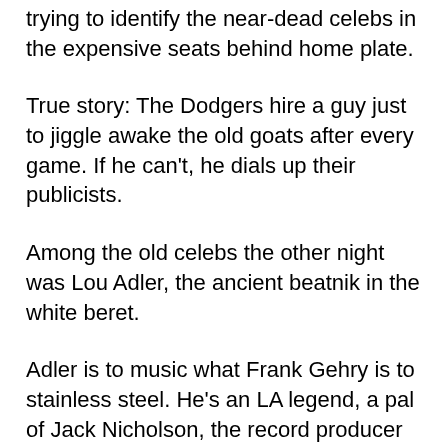trying to identify the near-dead celebs in the expensive seats behind home plate.
True story: The Dodgers hire a guy just to jiggle awake the old goats after every game. If he can't, he dials up their publicists.
Among the old celebs the other night was Lou Adler, the ancient beatnik in the white beret.
Adler is to music what Frank Gehry is to stainless steel. He's an LA legend, a pal of Jack Nicholson, the record producer behind “Tapestry” and a hundred other hits. Among the vintage celebs (Pat Sajak, Mary Hart), Adler stands out as someone who did some really worthwhile stuff.
In watching him, I had this urge to ask: “Hey Lou, does today’s music sound like bus brakes to you? Because it